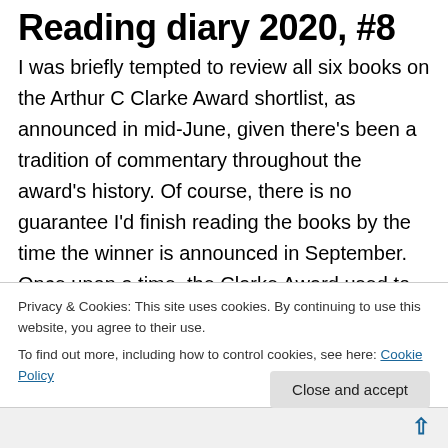Reading diary 2020, #8
I was briefly tempted to review all six books on the Arthur C Clarke Award shortlist, as announced in mid-June, given there's been a tradition of commentary throughout the award's history. Of course, there is no guarantee I'd finish reading the books by the time the winner is announced in September. Once upon a time, the Clarke Award used to generate interesting, if occasionally controversial, shortlists. While you might not have agreed with every book nominated, the shortlist generally included books otherwise unknown that were worth reading. But things
Privacy & Cookies: This site uses cookies. By continuing to use this website, you agree to their use.
To find out more, including how to control cookies, see here: Cookie Policy